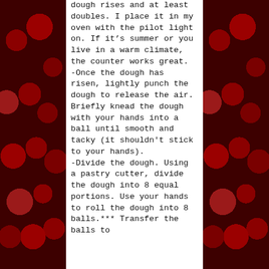[Figure (photo): Background photo of dark red cherries, visible on the left and right sides of the page flanking a central white text panel.]
dough rises and at least doubles. I place it in my oven with the pilot light on. If it's summer or you live in a warm climate, the counter works great.
-Once the dough has risen, lightly punch the dough to release the air. Briefly knead the dough with your hands into a ball until smooth and tacky (it shouldn't stick to your hands).
-Divide the dough. Using a pastry cutter, divide the dough into 8 equal portions. Use your hands to roll the dough into 8 balls.*** Transfer the balls to